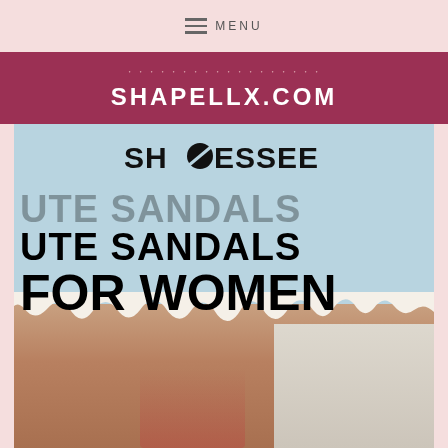MENU
SHAPELLX.COM
[Figure (photo): Shoessee brand logo and promotional image showing cute sandals for women, with woman's legs wearing red sandals against a light blue background with torn paper effect]
CUTE SANDALS FOR WOMEN